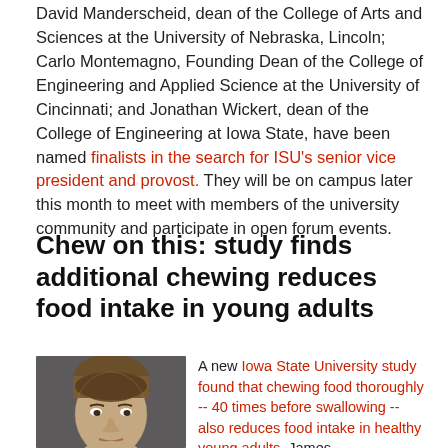David Manderscheid, dean of the College of Arts and Sciences at the University of Nebraska, Lincoln; Carlo Montemagno, Founding Dean of the College of Engineering and Applied Science at the University of Cincinnati; and Jonathan Wickert, dean of the College of Engineering at Iowa State, have been named finalists in the search for ISU's senior vice president and provost. They will be on campus later this month to meet with members of the university community and participate in open forum events.
Chew on this: study finds additional chewing reduces food intake in young adults
[Figure (photo): Headshot photo of a young man with brown hair, looking directly at camera, serious expression, dark background]
A new Iowa State University study found that chewing food thoroughly -- 40 times before swallowing -- also reduces food intake in healthy young adults. James Hollingsworth State assistant professor of